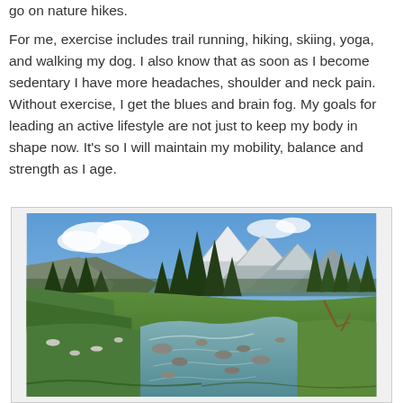go on nature hikes.
For me, exercise includes trail running, hiking, skiing, yoga, and walking my dog. I also know that as soon as I become sedentary I have more headaches, shoulder and neck pain. Without exercise, I get the blues and brain fog. My goals for leading an active lifestyle are not just to keep my body in shape now. It’s so I will maintain my mobility, balance and strength as I age.
[Figure (photo): Outdoor nature scene showing a mountain meadow with a rocky stream in the foreground, evergreen trees in the middle ground, and snow-capped mountains under a blue sky in the background.]